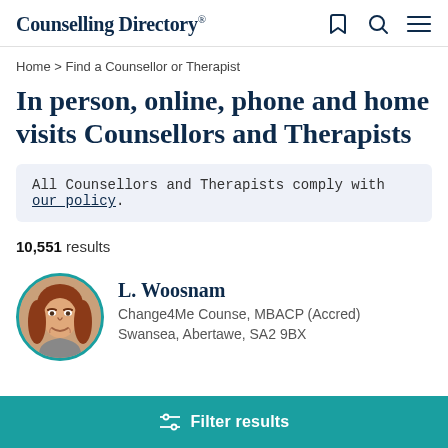Counselling Directory
Home > Find a Counsellor or Therapist
In person, online, phone and home visits Counsellors and Therapists
All Counsellors and Therapists comply with our policy.
10,551 results
[Figure (photo): Circular profile photo of L. Woosnam, a woman with red/auburn hair, smiling, with a teal circular border.]
L. Woosnam
Change4Me Counse, MBACP (Accred)
Swansea, Abertawe, SA2 9BX
Filter results